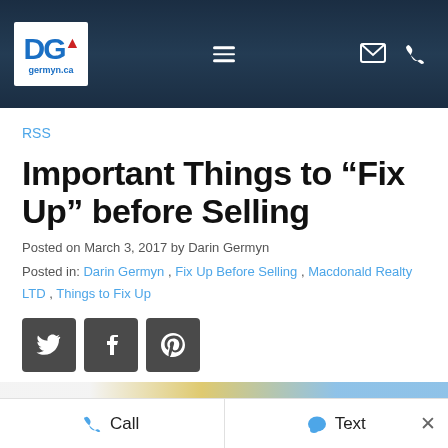germyn.ca
RSS
Important Things to “Fix Up” before Selling
Posted on March 3, 2017 by Darin Germyn
Posted in: Darin Germyn , Fix Up Before Selling , Macdonald Realty LTD , Things to Fix Up
[Figure (other): Social share buttons: Twitter, Facebook, Pinterest]
Call   Text